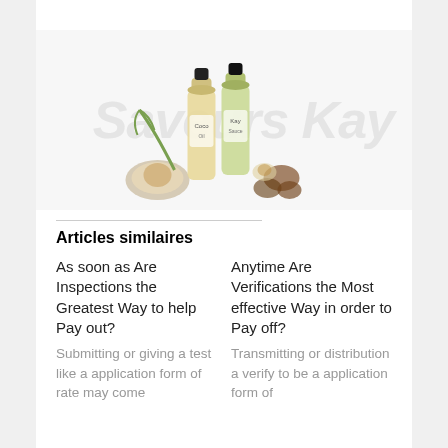[Figure (photo): Two small bottles of coconut oil / food sauce products with coconut and nut ingredients around them, on a light background with a watermark logo reading 'Saveurs Kay']
Articles similaires
As soon as Are Inspections the Greatest Way to help Pay out?
Submitting or giving a test like a application form of rate may come
Anytime Are Verifications the Most effective Way in order to Pay off?
Transmitting or distribution a verify to be a application form of